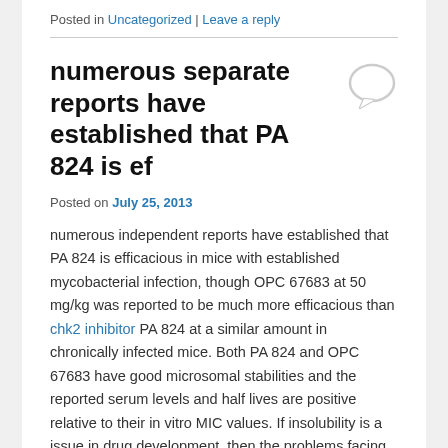Posted in Uncategorized | Leave a reply
numerous separate reports have established that PA 824 is ef
Posted on July 25, 2013
numerous independent reports have established that PA 824 is efficacious in mice with established mycobacterial infection, though OPC 67683 at 50 mg/kg was reported to be much more efficacious than chk2 inhibitor PA 824 at a similar amount in chronically infected mice. Both PA 824 and OPC 67683 have good microsomal stabilities and the reported serum levels and half lives are positive relative to their in vitro MIC values. If insolubility is a issue in drug development, then the problems facing an OPC 67683 formula that would meet the stability and financial